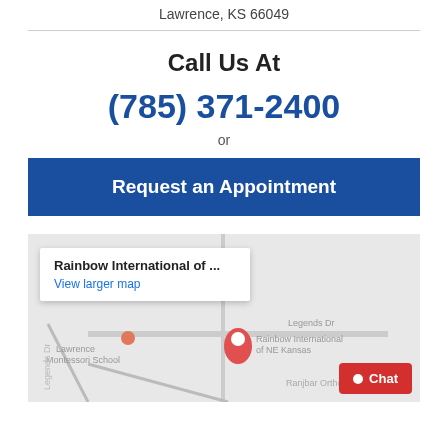Lawrence, KS 66049
Call Us At
(785) 371-2400
or
Request an Appointment
[Figure (map): Google Maps embed showing Rainbow International of NE Kansas location in Lawrence, KS. A tooltip reads 'Rainbow International of ...' and 'View larger map'. Map shows nearby Lawrence Montessori School and Ranjbar Orthodonti...]
Chat